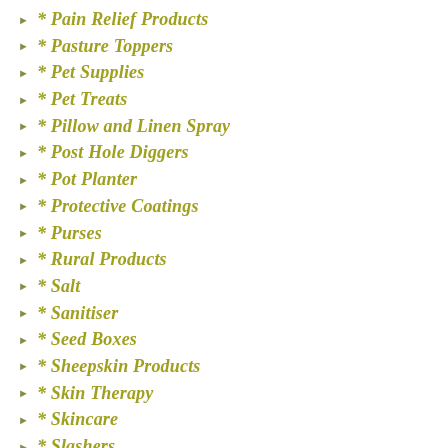* Pain Relief Products
* Pasture Toppers
* Pet Supplies
* Pet Treats
* Pillow and Linen Spray
* Post Hole Diggers
* Pot Planter
* Protective Coatings
* Purses
* Rural Products
* Salt
* Sanitiser
* Seed Boxes
* Sheepskin Products
* Skin Therapy
* Skincare
* Slashers